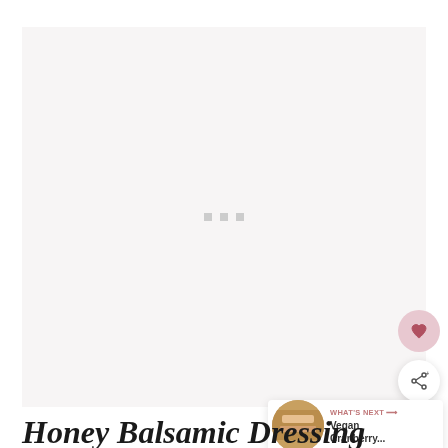[Figure (photo): Large light pinkish-grey placeholder image area with three small grey square loading indicator dots in the center]
[Figure (other): Heart/favorite button - circular pink/mauve button with heart icon]
[Figure (other): Share button - circular white button with share icon]
[Figure (other): What's Next card showing thumbnail image and text 'WHAT'S NEXT → Vegan Cranberry...']
Honey Balsamic Dressing